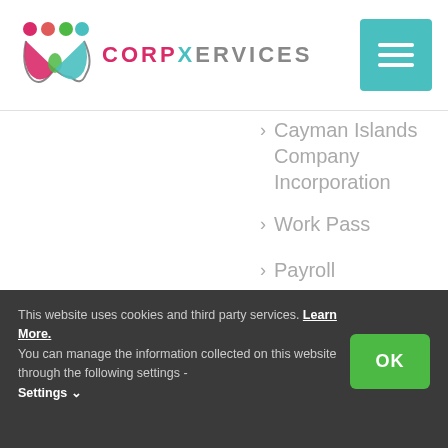[Figure (logo): CorpXervices logo with colorful circles and letter W icon, followed by brand name CORPXERVICES in grey and pink text, and a teal hamburger menu button]
Cayman Islands Company Incorporation
Work Pass
Payroll
GST & Services Tax
Virtual Office
This website uses cookies and third party services. Learn More. You can manage the information collected on this website through the following settings - Settings